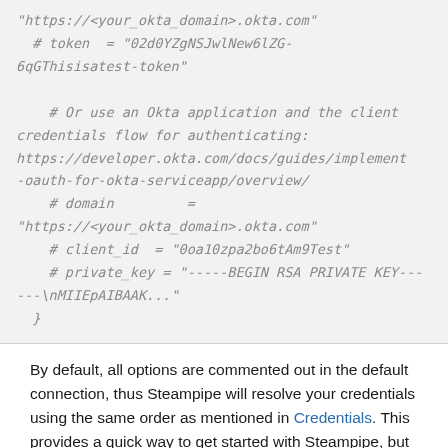"https://<your_okta_domain>.okta.com"
  # token = "02d0YZgNSJwlNew6lZG-6qGThisisatest-token"

    # Or use an Okta application and the client credentials flow for authenticating: https://developer.okta.com/docs/guides/implement-oauth-for-okta-serviceapp/overview/
    # domain         = "https://<your_okta_domain>.okta.com"
    # client_id  = "0oa10zpa2bo6tAm9Test"
    # private_key = "-----BEGIN RSA PRIVATE KEY-----\nMIIEpAIBAAK..."
}
By default, all options are commented out in the default connection, thus Steampipe will resolve your credentials using the same order as mentioned in Credentials. This provides a quick way to get started with Steampipe, but you will probably want to customize your experience using configuration options for querying multiple organizations, configuring credentials from your okta configuration